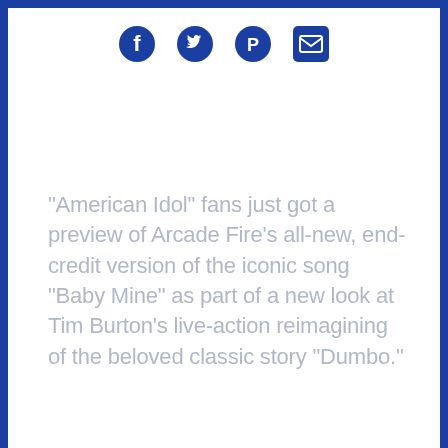[Figure (logo): Social media icons (Facebook, Twitter/bird, another icon, and a square icon) partially visible at the top of the page in blue]
"American Idol" fans just got a preview of Arcade Fire's all-new, end-credit version of the iconic song "Baby Mine" as part of a new look at Tim Burton's live-action reimagining of the beloved classic story "Dumbo."